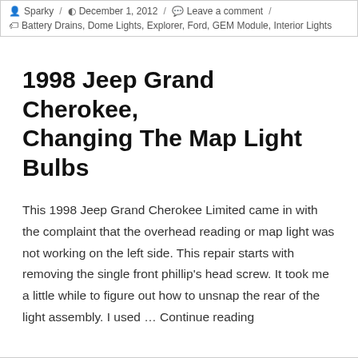Sparky / December 1, 2012 / Leave a comment / Battery Drains, Dome Lights, Explorer, Ford, GEM Module, Interior Lights
1998 Jeep Grand Cherokee, Changing The Map Light Bulbs
This 1998 Jeep Grand Cherokee Limited came in with the complaint that the overhead reading or map light was not working on the left side. This repair starts with removing the single front phillip's head screw. It took me a little while to figure out how to unsnap the rear of the light assembly. I used … Continue reading